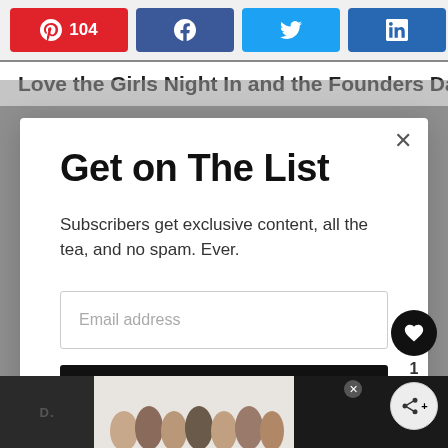[Figure (screenshot): Social share bar with Pinterest (104), Facebook, Twitter, LinkedIn buttons and share count of 104 SHARES]
Love the Girls Night In and the Founders Day
[Figure (screenshot): Modal popup with title 'Get on The List', subtitle 'Subscribers get exclusive content, all the tea, and no spam. Ever.', email input field, and Subscribe button]
[Figure (screenshot): Bottom advertisement bar with group photo and 'We Stand Together' text with music streaming logo]